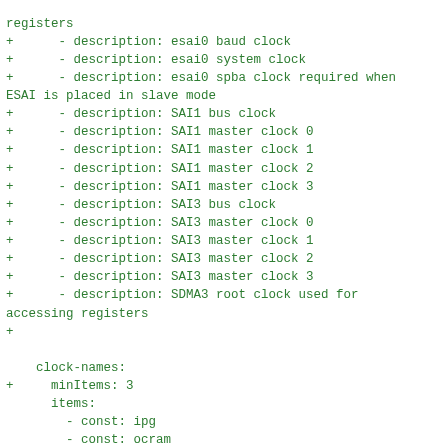registers
+      - description: esai0 baud clock
+      - description: esai0 system clock
+      - description: esai0 spba clock required when
ESAI is placed in slave mode
+      - description: SAI1 bus clock
+      - description: SAI1 master clock 0
+      - description: SAI1 master clock 1
+      - description: SAI1 master clock 2
+      - description: SAI1 master clock 3
+      - description: SAI3 bus clock
+      - description: SAI3 master clock 0
+      - description: SAI3 master clock 1
+      - description: SAI3 master clock 2
+      - description: SAI3 master clock 3
+      - description: SDMA3 root clock used for
accessing registers
+

    clock-names:
+     minItems: 3
      items:
        - const: ipg
        - const: ocram
        - const: core
+       - const: esai0_core
+       - const: esai0_extal
+       - const: esai0_fsys
+       - const: esai0_spba
+       - const: sai1_bus